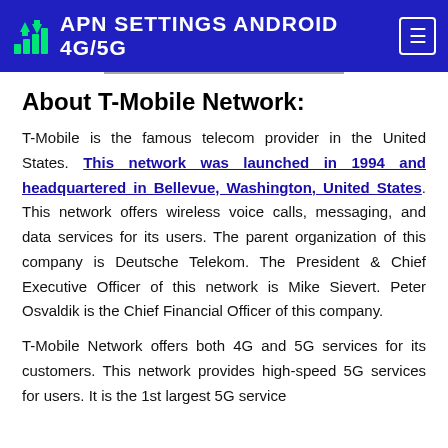APN SETTINGS ANDROID 4G/5G
About T-Mobile Network:
T-Mobile is the famous telecom provider in the United States. This network was launched in 1994 and headquartered in Bellevue, Washington, United States. This network offers wireless voice calls, messaging, and data services for its users. The parent organization of this company is Deutsche Telekom. The President & Chief Executive Officer of this network is Mike Sievert. Peter Osvaldik is the Chief Financial Officer of this company.
T-Mobile Network offers both 4G and 5G services for its customers. This network provides high-speed 5G services for users. It is the 1st largest 5G service...